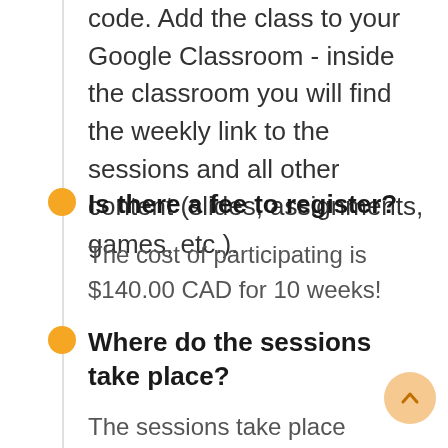code. Add the class to your Google Classroom - inside the classroom you will find the weekly link to the sessions and all other content (slides, assignments, games, etc.).
Is there a fee to register?
The cost of participating is $140.00 CAD for 10 weeks!
Where do the sessions take place?
The sessions take place virtually on a platform called Blackboard. All members...